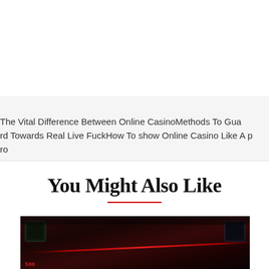The Vital Difference Between Online CasinoMethods To Guard Towards Real Live FuckHow To show Online Casino Like A pro
You Might Also Like
[Figure (photo): Dark red-toned interior photo of what appears to be a casino or gaming area with neon red lighting and electronic displays]